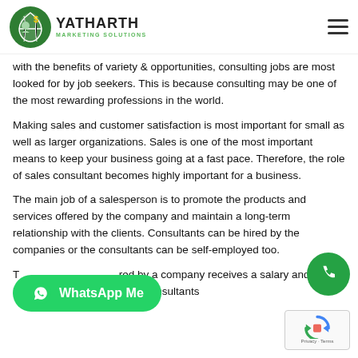YATHARTH MARKETING SOLUTIONS
With the benefits of variety & opportunities, consulting jobs are most looked for by job seekers. This is because consulting may be one of the most rewarding professions in the world.
Making sales and customer satisfaction is most important for small as well as larger organizations. Sales is one of the most important means to keep your business going at a fast pace. Therefore, the role of sales consultant becomes highly important for a business.
The main job of a salesperson is to promote the products and services offered by the company and maintain a long-term relationship with the clients. Consultants can be hired by the companies or the consultants can be self-employed too.
T... red by a company receives a salary and other benefits and self-employed consultants